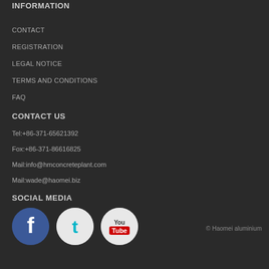INFORMATION
CONTACT
REGISTRATION
LEGAL NOTICE
TERMS AND CONDITIONS
FAQ
CONTACT US
Tel:+86-371-65621392
Fox:+86-371-86616825
Mail:info@hmconcreteplant.com
Mail:wade@haomei.biz
SOCIAL MEDIA
[Figure (illustration): Three social media icons: Facebook (blue circle with white F), Twitter (light circle with teal bird), YouTube (light circle with YouTube logo)]
© Haomei aluminium